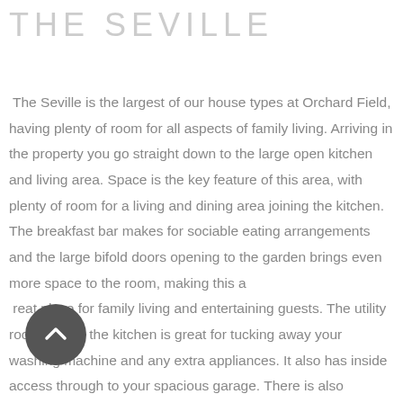THE SEVILLE
The Seville is the largest of our house types at Orchard Field, having plenty of room for all aspects of family living. Arriving in the property you go straight down to the large open kitchen and living area. Space is the key feature of this area, with plenty of room for a living and dining area joining the kitchen. The breakfast bar makes for sociable eating arrangements and the large bifold doors opening to the garden brings even more space to the room, making this a great place for family living and entertaining guests. The utility room just off the kitchen is great for tucking away your washing machine and any extra appliances. It also has inside access through to your spacious garage. There is also